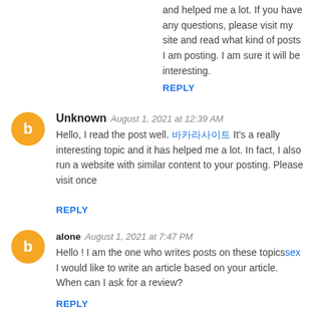and helped me a lot. If you have any questions, please visit my site and read what kind of posts I am posting. I am sure it will be interesting.
REPLY
Unknown  August 1, 2021 at 12:39 AM
Hello, I read the post well. 바카라사이트 It's a really interesting topic and it has helped me a lot. In fact, I also run a website with similar content to your posting. Please visit once
REPLY
alone  August 1, 2021 at 7:47 PM
Hello ! I am the one who writes posts on these topicssex I would like to write an article based on your article. When can I ask for a review?
REPLY
Hahaha  August 2, 2021 at 9:44 PM